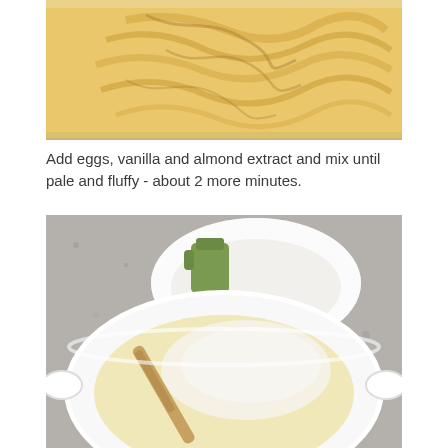[Figure (photo): Close-up of pale yellow, fluffy batter with swirl marks in a mixing bowl, viewed from above.]
Add eggs, vanilla and almond extract and mix until pale and fluffy - about 2 more minutes.
[Figure (photo): Two bowls on a granite countertop: a small white bowl with flour and a green measuring cup in the background, and a large white mixing bowl in the foreground with pale batter and flour being stirred with a wooden spoon.]